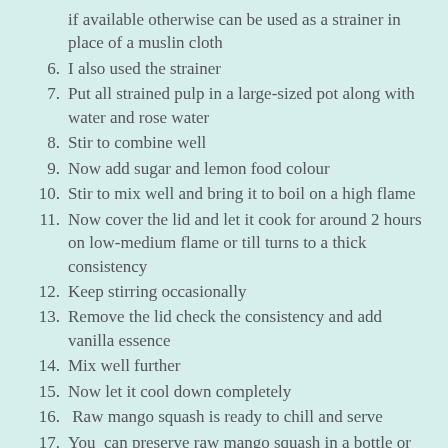if available otherwise can be used as a strainer in place of a muslin cloth
6. I also used the strainer
7. Put all strained pulp in a large-sized pot along with water and rose water
8. Stir to combine well
9. Now add sugar and lemon food colour
10. Stir to mix well and bring it to boil on a high flame
11. Now cover the lid and let it cook for around 2 hours on low-medium flame or till turns to a thick consistency
12. Keep stirring occasionally
13. Remove the lid check the consistency and add vanilla essence
14. Mix well further
15. Now let it cool down completely
16. Raw mango squash is ready to chill and serve
17. You can preserve raw mango squash in a bottle or any container whatever you have available